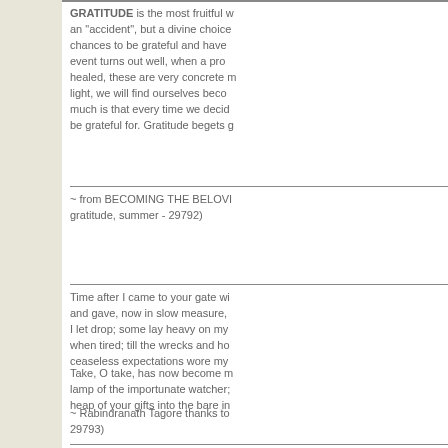GRATITUDE is the most fruitful w... an "accident", but a divine choice... chances to be grateful and have ... event turns out well, when a prob... healed, these are very concrete m... light, we will find ourselves becom... much is that every time we decid... be grateful for. Gratitude begets g...
~ from BECOMING THE BELOVI... gratitude, summer - 29792)
Time after I came to your gate wi... and gave, now in slow measure, ... I let drop; some lay heavy on my ... when tired; till the wrecks and ho... ceaseless expectations wore my ...
Take, O take, has now become m... lamp of the importunate watcher;... heap of your gifts into the bare in...
~ Rabindranath Tagore thanks to... 29793)